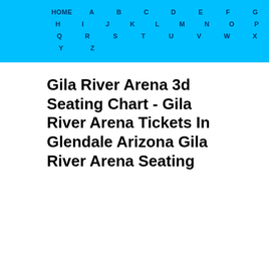HOME A B C D E F G H I J K L M N O P Q R S T U V W X Y Z
Gila River Arena 3d Seating Chart - Gila River Arena Tickets In Glendale Arizona Gila River Arena Seating